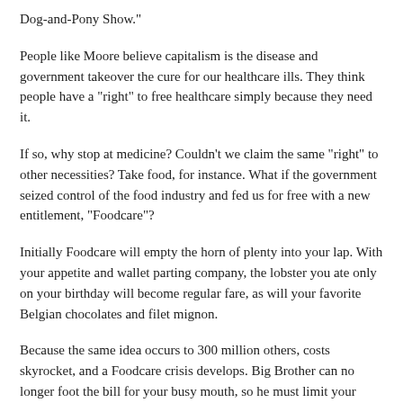Dog-and-Pony Show."
People like Moore believe capitalism is the disease and government takeover the cure for our healthcare ills. They think people have a "right" to free healthcare simply because they need it.
If so, why stop at medicine? Couldn't we claim the same "right" to other necessities? Take food, for instance. What if the government seized control of the food industry and fed us for free with a new entitlement, "Foodcare"?
Initially Foodcare will empty the horn of plenty into your lap. With your appetite and wallet parting company, the lobster you ate only on your birthday will become regular fare, as will your favorite Belgian chocolates and filet mignon.
Because the same idea occurs to 300 million others, costs skyrocket, and a Foodcare crisis develops. Big Brother can no longer foot the bill for your busy mouth, so he must limit your mastication. This requires new agencies, bureaucrats, and a 100,000-page rulebook.